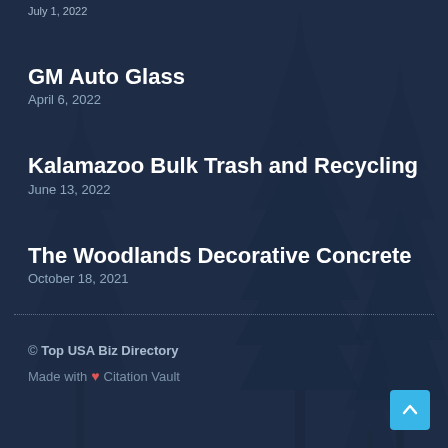July 1, 2022
GM Auto Glass
April 6, 2022
Kalamazoo Bulk Trash and Recycling
June 13, 2022
The Woodlands Decorative Concrete
October 18, 2021
© Top USA Biz Directory
Made with ❤ Citation Vault